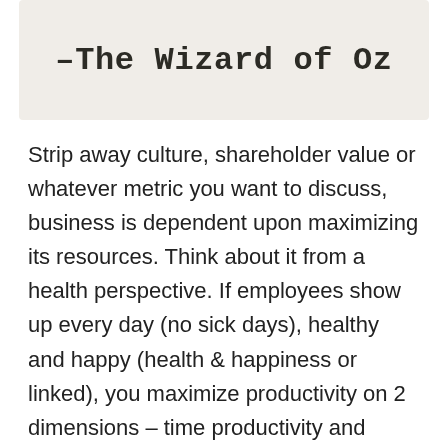[Figure (illustration): Decorative image block with a quote attribution text reading '–The Wizard of Oz' in bold monospace typeface on a light beige/cream background]
Strip away culture, shareholder value or whatever metric you want to discuss, business is dependent upon maximizing its resources. Think about it from a health perspective. If employees show up every day (no sick days), healthy and happy (health & happiness or linked), you maximize productivity on 2 dimensions – time productivity and individual responsibility productivity. Therefore, if